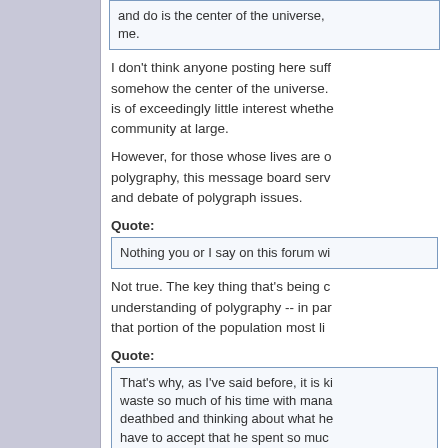and do is the center of the universe, me.
I don't think anyone posting here somehow the center of the universe. is of exceedingly little interest whether community at large.
However, for those whose lives are o polygraphy, this message board serv and debate of polygraph issues.
Quote:
Nothing you or I say on this forum wi
Not true. The key thing that's being c understanding of polygraphy -- in pa that portion of the population most li
Quote:
That's why, as I've said before, it is k waste so much of his time with mana deathbed and thinking about what he have to accept that he spent so muc think so.